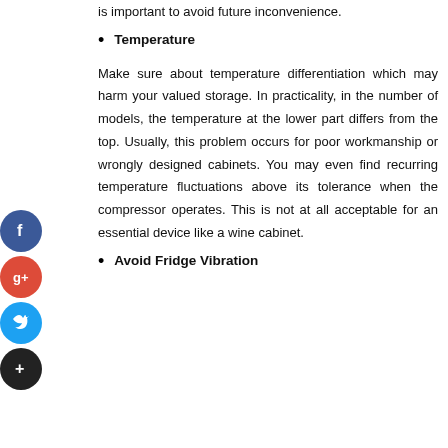is important to avoid future inconvenience.
Temperature
Make sure about temperature differentiation which may harm your valued storage. In practicality, in the number of models, the temperature at the lower part differs from the top. Usually, this problem occurs for poor workmanship or wrongly designed cabinets. You may even find recurring temperature fluctuations above its tolerance when the compressor operates. This is not at all acceptable for an essential device like a wine cabinet.
Avoid Fridge Vibration